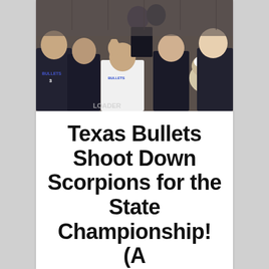[Figure (photo): A football coach in a white Bullets t-shirt addresses a team huddle of players in black football uniforms inside a locker room or gym. Players are gathered closely around the coach who has one hand raised.]
Texas Bullets Shoot Down Scorpions for the State Championship! (A